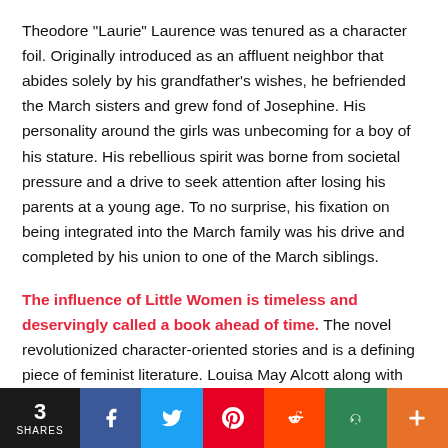Theodore "Laurie" Laurence was tenured as a character foil. Originally introduced as an affluent neighbor that abides solely by his grandfather's wishes, he befriended the March sisters and grew fond of Josephine. His personality around the girls was unbecoming for a boy of his stature. His rebellious spirit was borne from societal pressure and a drive to seek attention after losing his parents at a young age. To no surprise, his fixation on being integrated into the March family was his drive and completed by his union to one of the March siblings.
The influence of Little Women is timeless and deservingly called a book ahead of time. The novel revolutionized character-oriented stories and is a defining piece of feminist literature. Louisa May Alcott along with the likes of the Bronte Sisters and Jane Austen pioneered the gender-subversive genre and opened more
3 SHARES  f  t  p  reddit  oo  +